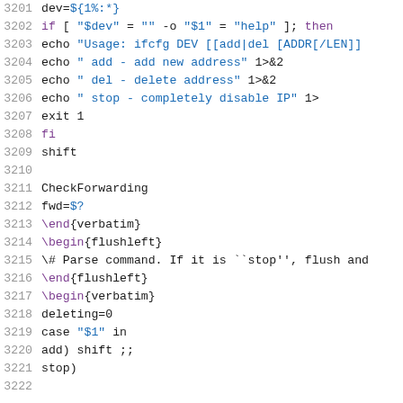[Figure (screenshot): Source code listing with line numbers 3201-3221, showing shell script and LaTeX markup. Lines contain shell commands (if/fi blocks, echo, exit, shift, case statements) with variable references in blue and LaTeX commands in purple.]